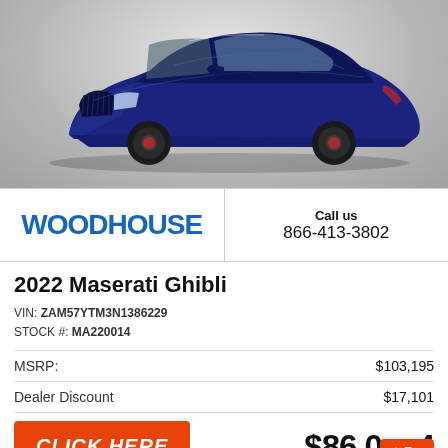[Figure (photo): Blue 2022 Maserati Ghibli luxury sedan on a gray gradient background, three-quarter front view facing right]
[Figure (logo): WOODHOUSE dealer logo in bold blue uppercase letters]
Call us
866-413-3802
2022 Maserati Ghibli
VIN: ZAM57YTM3N1386229
STOCK #: MA220014
| MSRP: | $103,195 |
| Dealer Discount | $17,101 |
CLICK HERE
$86,094